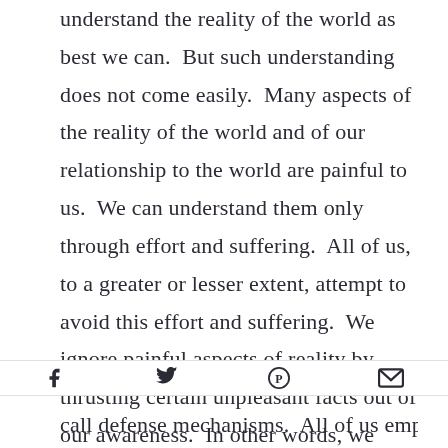understand the reality of the world as best we can.  But such understanding does not come easily.  Many aspects of the reality of the world and of our relationship to the world are painful to us.  We can understand them only through effort and suffering.  All of us, to a greater or lesser extent, attempt to avoid this effort and suffering.  We ignore painful aspects of reality by thrusting certain unpleasant facts out of our awareness.  In other words, we attempt to defend our consciousness, our awareness, against reality.  We do this by a
[Figure (other): Social sharing icons: Facebook (f), Twitter (bird), Pinterest (P in circle), Email (envelope)]
call defense mechanisms.  All of us employ